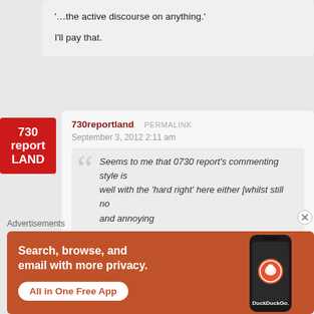'…the active discourse on anything.'

I'll pay that.
[Figure (logo): 730 reportLAND logo — red square with white bold text]
730reportland PERMALINK
September 3, 2012 2:11 am
Seems to me that 0730 report's commenting style is well with the 'hard right' here either [whilst still no and annoying
Over-Exposure to Corporatology play havoc with my Thea
Advertisements
[Figure (screenshot): DuckDuckGo advertisement banner: 'Search, browse, and email with more privacy. All in One Free App' with DuckDuckGo logo on phone image]